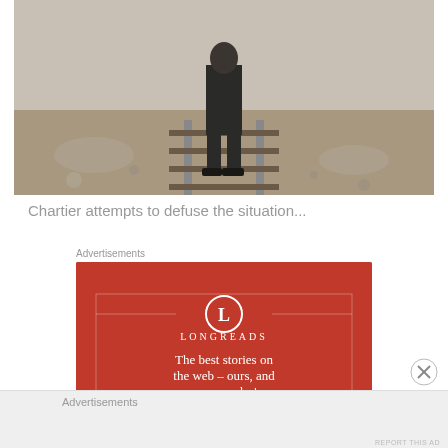[Figure (photo): Black and white photograph showing a person standing on railway tracks, viewed from the front. The person is wearing dark work clothes. The setting appears to be an industrial or construction area with debris visible on either side of the tracks.]
Chartier attempts to defuse the situation...
Advertisements
[Figure (illustration): Longreads advertisement on red background. Features the Longreads logo (circle with 'L') and brand name, with tagline 'The best stories on the web – ours, and everyone else's.' and a 'Start reading' button.]
Advertisements